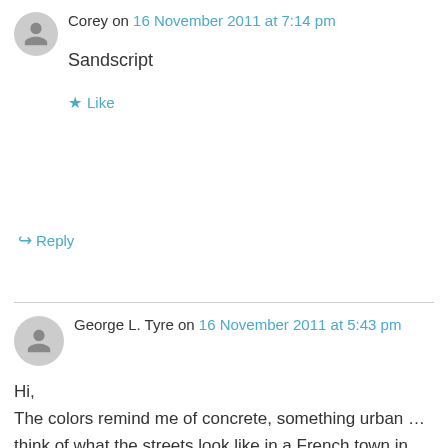Corey on 16 November 2011 at 7:14 pm
Sandscript
★ Like
↳ Reply
George L. Tyre on 16 November 2011 at 5:43 pm
Hi,
The colors remind me of concrete, something urban … think of what the streets look like in a French town in episodes of Combat! Now update that image to downtown, shopping mall, anywhere there is roadway. Turn your back to the ruins. Toss the handgun over your shoulder into it. Now, see how long it takes for you to find a firearm. My assertion is…